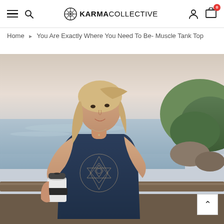KARMACOLLECTIVE — navigation bar with hamburger menu, search, logo, user icon, cart (0)
Home › You Are Exactly Where You Need To Be- Muscle Tank Top
[Figure (photo): Young blonde woman standing outdoors near a wooden railing with the ocean and rocky hillside behind her. She is wearing a navy blue muscle tank top printed with a geometric sacred geometry design (Star of David / Merkaba) surrounded by circular text reading 'You Are Exactly Where You Need To Be'. She is holding a reusable coffee cup with a black band. The lighting suggests a warm sunset.]